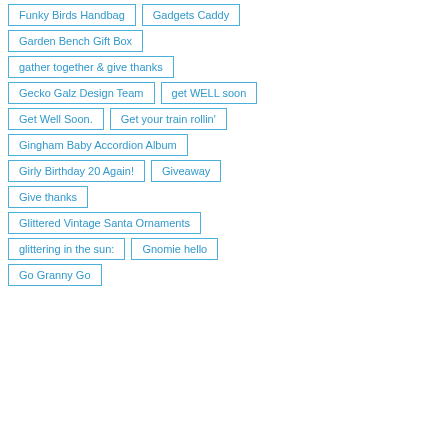Funky Birds Handbag
Gadgets Caddy
Garden Bench Gift Box
gather together & give thanks
Gecko Galz Design Team
get WELL soon
Get Well Soon.
Get your train rollin'
Gingham Baby Accordion Album
Girly Birthday 20 Again!
Giveaway
Give thanks
Glittered Vintage Santa Ornaments
glittering in the sun:
Gnomie hello
Go Granny Go